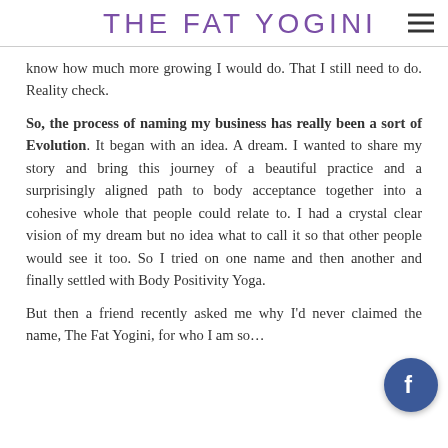THE FAT YOGINI
know how much more growing I would do. That I still need to do. Reality check.
So, the process of naming my business has really been a sort of Evolution. It began with an idea. A dream. I wanted to share my story and bring this journey of a beautiful practice and a surprisingly aligned path to body acceptance together into a cohesive whole that people could relate to. I had a crystal clear vision of my dream but no idea what to call it so that other people would see it too. So I tried on one name and then another and finally settled with Body Positivity Yoga.
But then a friend recently asked me why I'd never claimed the name, The Fat Yogini, for who I am so…